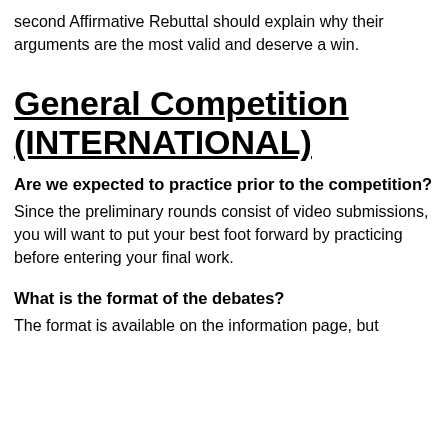second Affirmative Rebuttal should explain why their arguments are the most valid and deserve a win.
General Competition (INTERNATIONAL)
Are we expected to practice prior to the competition?
Since the preliminary rounds consist of video submissions, you will want to put your best foot forward by practicing before entering your final work.
What is the format of the debates?
The format is available on the information page, but